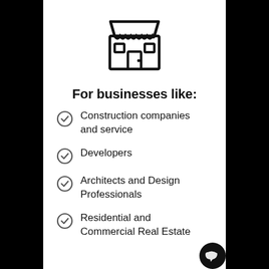[Figure (illustration): Store/shop icon with awning stripes and door with window]
For businesses like:
Construction companies and service
Developers
Architects and Design Professionals
Residential and Commercial Real Estate